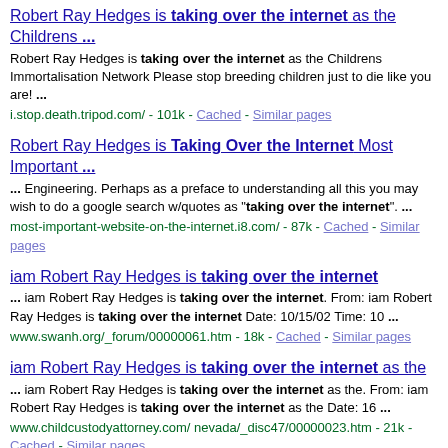Robert Ray Hedges is taking over the internet as the Childrens ... | Robert Ray Hedges is taking over the internet as the Childrens Immortalisation Network Please stop breeding children just to die like you are! ... | i.stop.death.tripod.com/ - 101k - Cached - Similar pages
Robert Ray Hedges is Taking Over the Internet Most Important ... | ... Engineering. Perhaps as a preface to understanding all this you may wish to do a google search w/quotes as "taking over the internet". ... | most-important-website-on-the-internet.i8.com/ - 87k - Cached - Similar pages
iam Robert Ray Hedges is taking over the internet | ... iam Robert Ray Hedges is taking over the internet. From: iam Robert Ray Hedges is taking over the internet Date: 10/15/02 Time: 10 ... | www.swanh.org/_forum/00000061.htm - 18k - Cached - Similar pages
iam Robert Ray Hedges is taking over the internet as the | ... iam Robert Ray Hedges is taking over the internet as the. From: iam Robert Ray Hedges is taking over the internet as the Date: 16 ... | www.childcustodyattorney.com/ nevada/_disc47/00000023.htm - 21k - Cached - Similar pages
Robert Ray Hedges is taking over the internet to acquire the